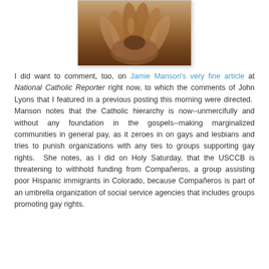[Figure (photo): Sepia-toned photograph of clasped or folded hands, close-up view from above, showing aged or weathered hands]
I did want to comment, too, on Jamie Manson's very fine article at National Catholic Reporter right now, to which the comments of John Lyons that I featured in a previous posting this morning were directed. Manson notes that the Catholic hierarchy is now--unmercifully and without any foundation in the gospels--making marginalized communities in general pay, as it zeroes in on gays and lesbians and tries to punish organizations with any ties to groups supporting gay rights. She notes, as I did on Holy Saturday, that the USCCB is threatening to withhold funding from Compañeros, a group assisting poor Hispanic immigrants in Colorado, because Compañeros is part of an umbrella organization of social service agencies that includes groups promoting gay rights.